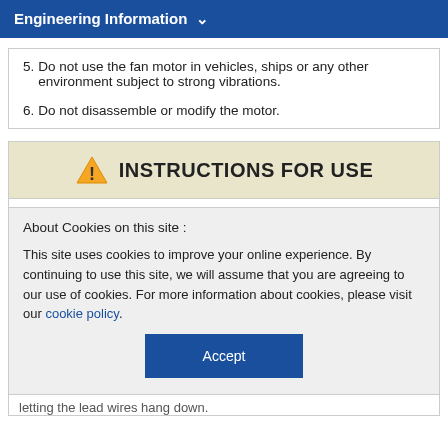Engineering Information ▾
5. Do not use the fan motor in vehicles, ships or any other environment subject to strong vibrations.
6. Do not disassemble or modify the motor.
⚠ INSTRUCTIONS FOR USE
About Cookies on this site :
This site uses cookies to improve your online experience. By continuing to use this site, we will assume that you are agreeing to our use of cookies. For more information about cookies, please visit our cookie policy.
Accept
letting the lead wires hang down.